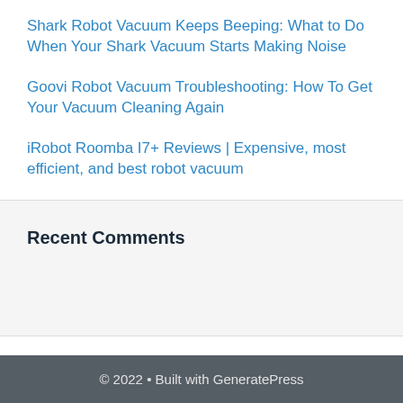Shark Robot Vacuum Keeps Beeping: What to Do When Your Shark Vacuum Starts Making Noise
Goovi Robot Vacuum Troubleshooting: How To Get Your Vacuum Cleaning Again
iRobot Roomba I7+ Reviews | Expensive, most efficient, and best robot vacuum
Recent Comments
© 2022 • Built with GeneratePress